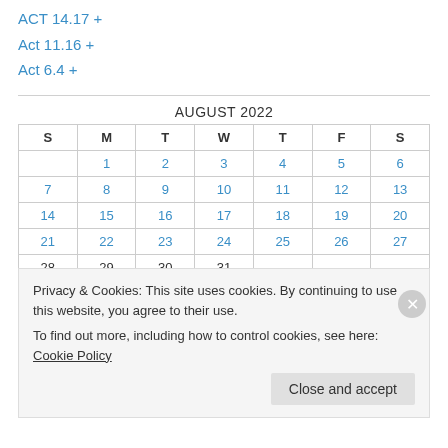ACT 14.17 +
Act 11.16 +
Act 6.4 +
| S | M | T | W | T | F | S |
| --- | --- | --- | --- | --- | --- | --- |
|  | 1 | 2 | 3 | 4 | 5 | 6 |
| 7 | 8 | 9 | 10 | 11 | 12 | 13 |
| 14 | 15 | 16 | 17 | 18 | 19 | 20 |
| 21 | 22 | 23 | 24 | 25 | 26 | 27 |
| 28 | 29 | 30 | 31 |  |  |  |
Privacy & Cookies: This site uses cookies. By continuing to use this website, you agree to their use. To find out more, including how to control cookies, see here: Cookie Policy
Close and accept